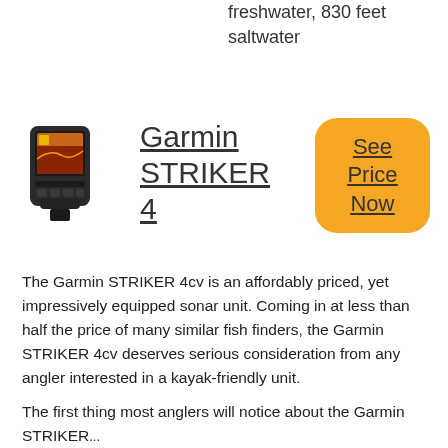freshwater, 830 feet saltwater
[Figure (photo): Garmin STRIKER 4 fish finder device, black handheld unit with small color screen]
Garmin STRIKER 4
[Figure (other): Yellow/orange rounded square button with text 'See Price Now' underlined]
The Garmin STRIKER 4cv is an affordably priced, yet impressively equipped sonar unit. Coming in at less than half the price of many similar fish finders, the Garmin STRIKER 4cv deserves serious consideration from any angler interested in a kayak-friendly unit.
The first thing most anglers will notice about the Garmin STRIKER...